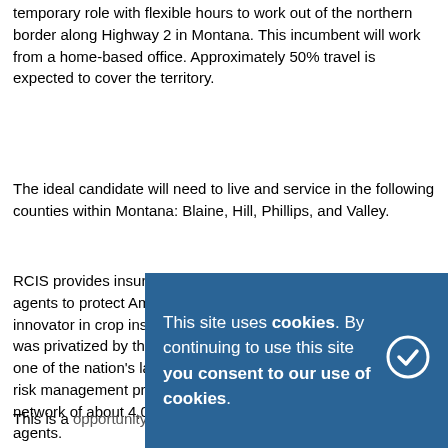temporary role with flexible hours to work out of the northern border along Highway 2 in Montana. This incumbent will work from a home-based office. Approximately 50% travel is expected to cover the territory.
The ideal candidate will need to live and service in the following counties within Montana: Blaine, Hill, Phillips, and Valley.
RCIS provides insurance and superior services through leading agents to protect America's farmers and ranchers. It's been an innovator in crop insurance since the crop insurance business was privatized by the federal government in 1980. Today it's one of the nation's largest crop insurance providers, offering risk management protection in all 50 states through a national network of about 4,000 professionally trained and licensed agents.
This is a [opportunity to serve the agricultural community
This site uses cookies. By continuing to use this site you consent to our use of cookies.